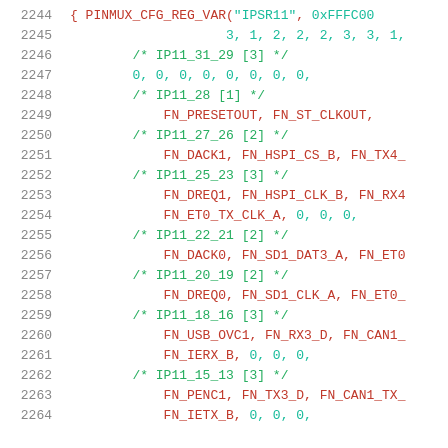Source code listing lines 2244-2264, C code with PINMUX_CFG_REG_VAR macro and IP11 register field comments
2244    { PINMUX_CFG_REG_VAR("IPSR11", 0xFFFC00
2245                    3, 1, 2, 2, 2, 3, 3, 1,
2246            /* IP11_31_29 [3] */
2247            0, 0, 0, 0, 0, 0, 0, 0,
2248            /* IP11_28 [1] */
2249                FN_PRESETOUT, FN_ST_CLKOUT,
2250            /* IP11_27_26 [2] */
2251                FN_DACK1, FN_HSPI_CS_B, FN_TX4_
2252            /* IP11_25_23 [3] */
2253                FN_DREQ1, FN_HSPI_CLK_B, FN_RX4
2254                FN_ET0_TX_CLK_A, 0, 0, 0,
2255            /* IP11_22_21 [2] */
2256                FN_DACK0, FN_SD1_DAT3_A, FN_ET0
2257            /* IP11_20_19 [2] */
2258                FN_DREQ0, FN_SD1_CLK_A, FN_ET0_
2259            /* IP11_18_16 [3] */
2260                FN_USB_OVC1, FN_RX3_D, FN_CAN1_
2261                FN_IERX_B, 0, 0, 0,
2262            /* IP11_15_13 [3] */
2263                FN_PENC1, FN_TX3_D, FN_CAN1_TX_
2264                FN_IETX_B, 0, 0, 0,